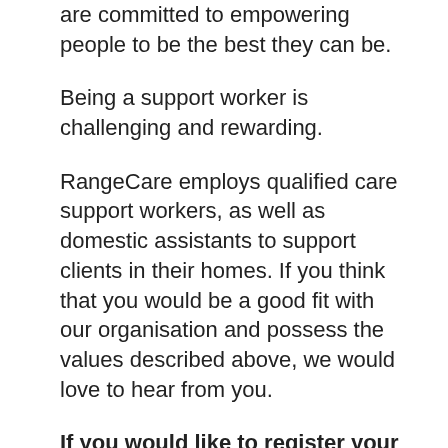are committed to empowering people to be the best they can be.
Being a support worker is challenging and rewarding.
RangeCare employs qualified care support workers, as well as domestic assistants to support clients in their homes. If you think that you would be a good fit with our organisation and possess the values described above, we would love to hear from you.
If you would like to register your expression of interest for an employment position with Blackall Range Care Group Ltd, please complete